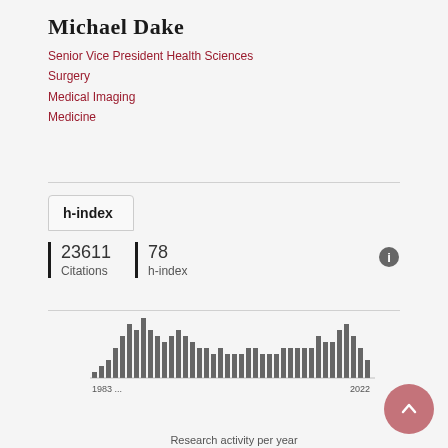Michael Dake
Senior Vice President Health Sciences
Surgery
Medical Imaging
Medicine
h-index
23611 Citations   78 h-index
[Figure (bar-chart): Research activity per year]
Research activity per year